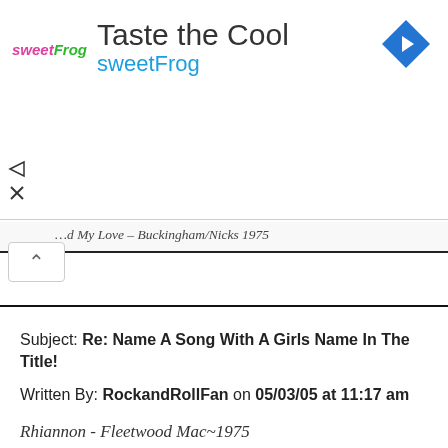[Figure (logo): SweetFrog ad banner with logo, 'Taste the Cool' heading, 'sweetFrog' subtitle in blue, and a blue diamond navigation icon]
…d My Love – Buckingham/Nicks 1975
Subject: Re: Name A Song With A Girls Name In The Title!
Written By: RockandRollFan on 05/03/05 at 11:17 am

Rhiannon - Fleetwood Mac~1975
Subject: Re: Name A Song With A Girls Name In The Title!
Written By: Philip Eno on 05/03/05 at 12:15 pm